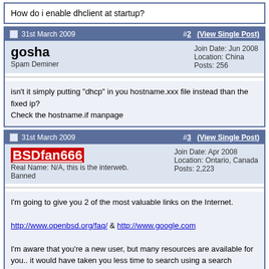How do i enable dhclient at startup?
31st March 2009  #2  (View Single Post)
gosha
Spam Deminer
Join Date: Jun 2008
Location: China
Posts: 256
isn't it simply putting "dhcp" in you hostname.xxx file instead than the fixed ip?
Check the hostname.if manpage
31st March 2009  #3  (View Single Post)
BSDfan666
Real Name: N/A, this is the interweb.
Banned
Join Date: Apr 2008
Location: Ontario, Canada
Posts: 2,223
I'm going to give you 2 of the most valuable links on the Internet.

http://www.openbsd.org/faq/ & http://www.google.com

I'm aware that you're a new user, but many resources are available for you.. it would have taken you less time to search using a search engine.